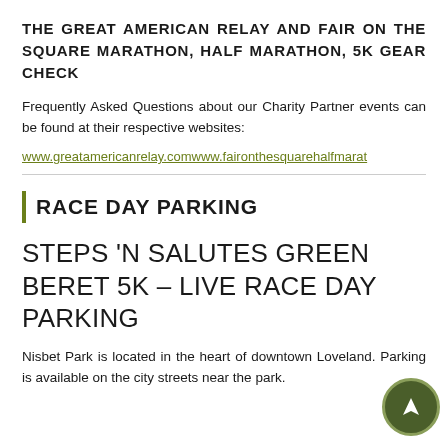THE GREAT AMERICAN RELAY AND FAIR ON THE SQUARE MARATHON, HALF MARATHON, 5K GEAR CHECK
Frequently Asked Questions about our Charity Partner events can be found at their respective websites:
www.greatamericanrelay.comwww.faironthesquarehalfmarat
RACE DAY PARKING
STEPS 'N SALUTES GREEN BERET 5K – LIVE RACE DAY PARKING
Nisbet Park is located in the heart of downtown Loveland. Parking is available on the city streets near the park.